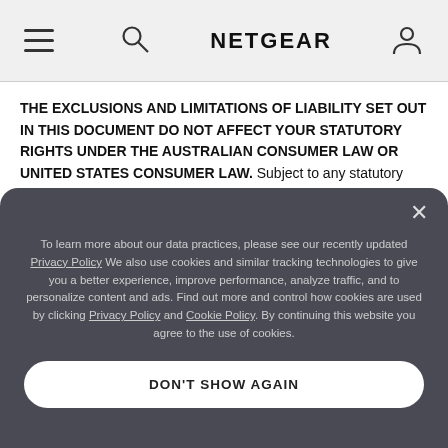NETGEAR
THE EXCLUSIONS AND LIMITATIONS OF LIABILITY SET OUT IN THIS DOCUMENT DO NOT AFFECT YOUR STATUTORY RIGHTS UNDER THE AUSTRALIAN CONSUMER LAW OR UNITED STATES CONSUMER LAW. Subject to any statutory rights you may have under the Australian Consumer Law or United States consumer law, to the fullest extent otherwise permitted by law and except as specifically provided in this document, the warranties and remedies in this warranty agreement are exclusive and in lieu of all others, oral or written, express
To learn more about our data practices, please see our recently updated Privacy Policy. We also use cookies and similar tracking technologies to give you a better experience, improve performance, analyze traffic, and to personalize content and ads. Find out more and control how cookies are used by clicking Privacy Policy and Cookie Policy. By continuing this website you agree to the use of cookies.
DON'T SHOW AGAIN